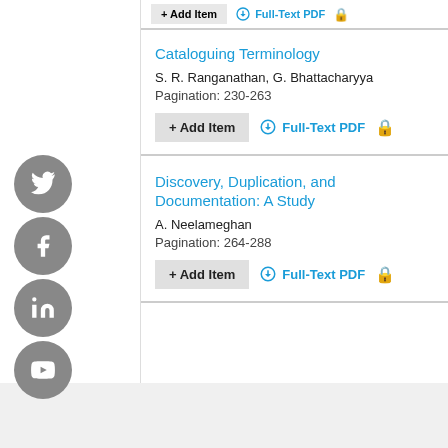Cataloguing Terminology
S. R. Ranganathan, G. Bhattacharyya
Pagination: 230-263
Discovery, Duplication, and Documentation: A Study
A. Neelameghan
Pagination: 264-288